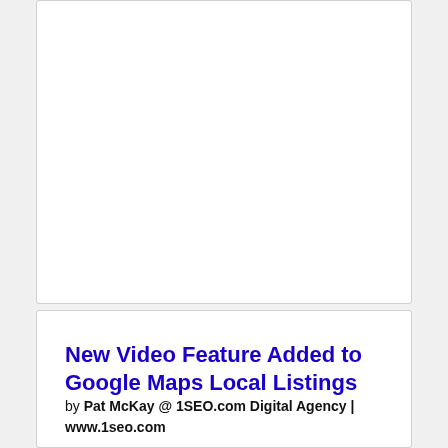[Figure (other): Empty white card placeholder at top of page]
New Video Feature Added to Google Maps Local Listings
by Pat McKay @ 1SEO.com Digital Agency | www.1seo.com